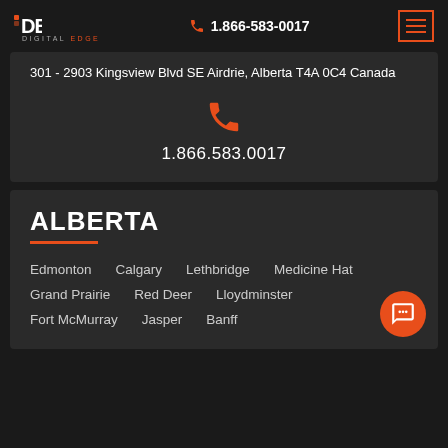DEM Digital Edge | 1.866-583-0017
301 - 2903 Kingsview Blvd SE Airdrie, Alberta T4A 0C4 Canada
1.866.583.0017
ALBERTA
Edmonton
Calgary
Lethbridge
Medicine Hat
Grand Prairie
Red Deer
Lloydminster
Fort McMurray
Jasper
Banff